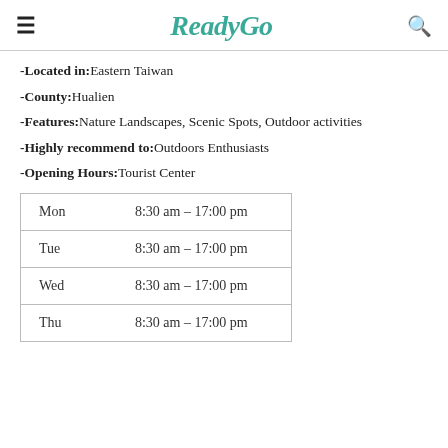ReadyGo
-Located in: Eastern Taiwan
-County: Hualien
-Features: Nature Landscapes, Scenic Spots, Outdoor activities
-Highly recommend to: Outdoors Enthusiasts
-Opening Hours: Tourist Center
| Day | Hours |
| --- | --- |
| Mon | 8:30 am – 17:00 pm |
| Tue | 8:30 am – 17:00 pm |
| Wed | 8:30 am – 17:00 pm |
| Thu | 8:30 am – 17:00 pm |